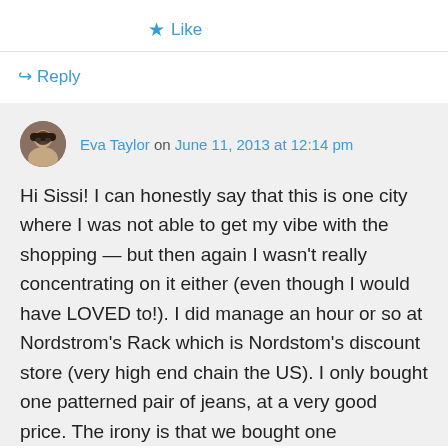★ Like
↪ Reply
Eva Taylor on June 11, 2013 at 12:14 pm
Hi Sissi! I can honestly say that this is one city where I was not able to get my vibe with the shopping — but then again I wasn't really concentrating on it either (even though I would have LOVED to!). I did manage an hour or so at Nordstrom's Rack which is Nordstom's discount store (very high end chain the US). I only bought one patterned pair of jeans, at a very good price. The irony is that we bought one